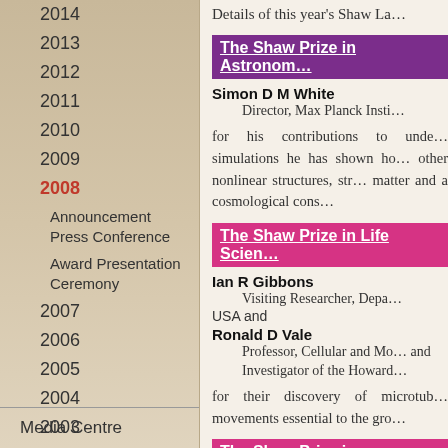2014
2013
2012
2011
2010
2009
2008
Announcement Press Conference
Award Presentation Ceremony
2007
2006
2005
2004
2003
2002
Media Centre
Details of this year's Shaw La…
The Shaw Prize in Astronom…
Simon D M White
Director, Max Planck Insti…
for his contributions to unde… simulations he has shown ho… other nonlinear structures, str… matter and a cosmological cons…
The Shaw Prize in Life Scien…
Ian R Gibbons
Visiting Researcher, Depa… USA and
Ronald D Vale
Professor, Cellular and Mo… and Investigator of the Howard…
for their discovery of microtub… movements essential to the gro…
The Shaw Prize in Mathema…
János Kollár